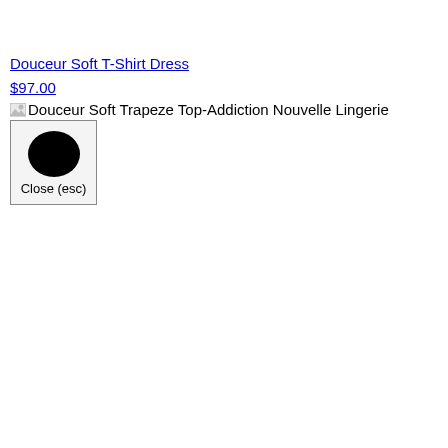Douceur Soft T-Shirt Dress
$97.00
[Figure (screenshot): Broken image icon with alt text: Douceur Soft Trapeze Top-Addiction Nouvelle Lingerie]
[Figure (other): Close button with black circle icon and label 'Close (esc)']